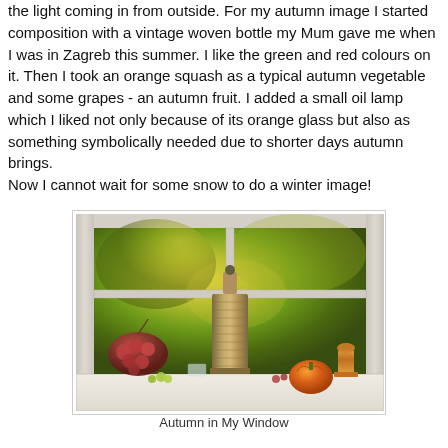the light coming in from outside. For my autumn image I started composition with a vintage woven bottle my Mum gave me when I was in Zagreb this summer. I like the green and red colours on it. Then I took an orange squash as a typical autumn vegetable and some grapes - an autumn fruit. I added a small oil lamp which I liked not only because of its orange glass but also as something symbolically needed due to shorter days autumn brings.
Now I cannot wait for some snow to do a winter image!
[Figure (photo): Autumn still life on a windowsill: a woven bottle, red grapes, an orange squash/pumpkin, and a small amber oil lamp, with autumn foliage visible through the window behind.]
Autumn in My Window